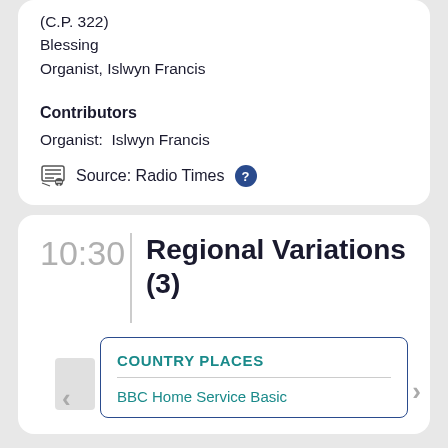Behold the mountain of the Lord (C.P. 322)
Blessing
Organist, Islwyn Francis
Contributors
Organist:  Islwyn Francis
Source: Radio Times
10:30
Regional Variations (3)
COUNTRY PLACES
BBC Home Service Basic